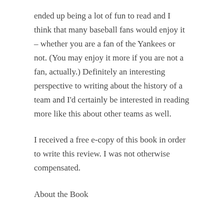ended up being a lot of fun to read and I think that many baseball fans would enjoy it – whether you are a fan of the Yankees or not. (You may enjoy it more if you are not a fan, actually.) Definitely an interesting perspective to writing about the history of a team and I'd certainly be interested in reading more like this about other teams as well.
I received a free e-copy of this book in order to write this review. I was not otherwise compensated.
About the Book